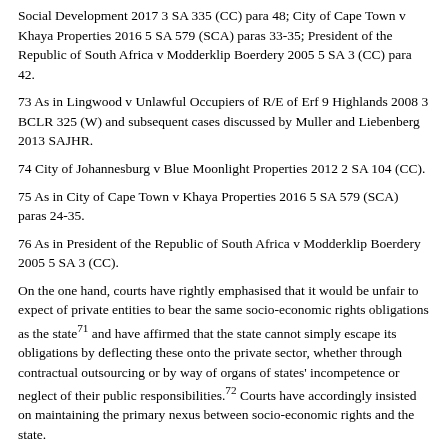Social Development 2017 3 SA 335 (CC) para 48; City of Cape Town v Khaya Properties 2016 5 SA 579 (SCA) paras 33-35; President of the Republic of South Africa v Modderklip Boerdery 2005 5 SA 3 (CC) para 42.
73 As in Lingwood v Unlawful Occupiers of R/E of Erf 9 Highlands 2008 3 BCLR 325 (W) and subsequent cases discussed by Muller and Liebenberg 2013 SAJHR.
74 City of Johannesburg v Blue Moonlight Properties 2012 2 SA 104 (CC).
75 As in City of Cape Town v Khaya Properties 2016 5 SA 579 (SCA) paras 24-35.
76 As in President of the Republic of South Africa v Modderklip Boerdery 2005 5 SA 3 (CC).
On the one hand, courts have rightly emphasised that it would be unfair to expect of private entities to bear the same socio-economic rights obligations as the state71 and have affirmed that the state cannot simply escape its obligations by deflecting these onto the private sector, whether through contractual outsourcing or by way of organs of states' incompetence or neglect of their public responsibilities.72 Courts have accordingly insisted on maintaining the primary nexus between socio-economic rights and the state.